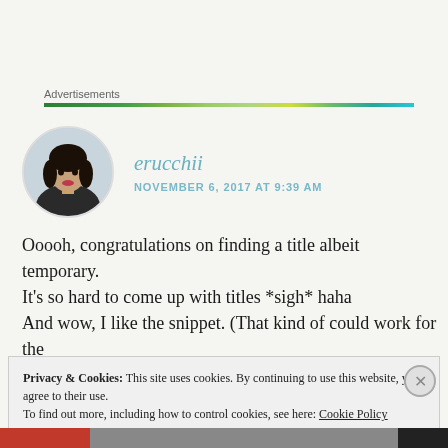Advertisements
[Figure (photo): Profile photo of user erucchii — a young woman with dark hair, in a circular avatar crop]
erucchii
NOVEMBER 6, 2017 AT 9:39 AM
Ooooh, congratulations on finding a title albeit temporary. It's so hard to come up with titles *sigh* haha
And wow, I like the snippet. (That kind of could work for the beginning of a fantasy novel too xD)
Privacy & Cookies: This site uses cookies. By continuing to use this website, you agree to their use.
To find out more, including how to control cookies, see here: Cookie Policy
Close and accept